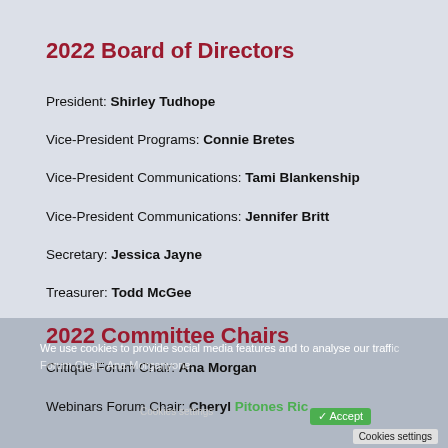2022 Board of Directors
President: Shirley Tudhope
Vice-President Programs: Connie Bretes
Vice-President Communications: Tami Blankenship
Vice-President Communications: Jennifer Britt
Secretary: Jessica Jayne
Treasurer: Todd McGee
2022 Committee Chairs
Critique Forum Chair: Ana Morgan
Webinars Forum Chair: Cheryl Pitones Ric